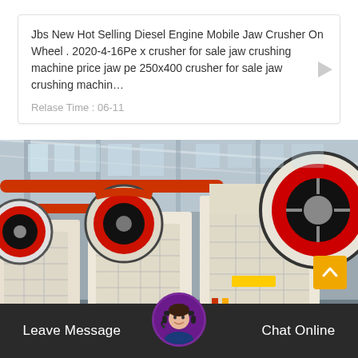Jbs New Hot Selling Diesel Engine Mobile Jaw Crusher On Wheel . 2020-4-16Pe x crusher for sale jaw crushing machine price jaw pe 250x400 crusher for sale jaw crushing machin…
Relase Time : 06-11
[Figure (photo): Industrial factory floor showing multiple jaw crusher machines lined up, with large red and black flywheels visible. Machines are cream/beige colored with red accents. Factory has metal roof structure with skylights.]
Leave Message
Chat Online